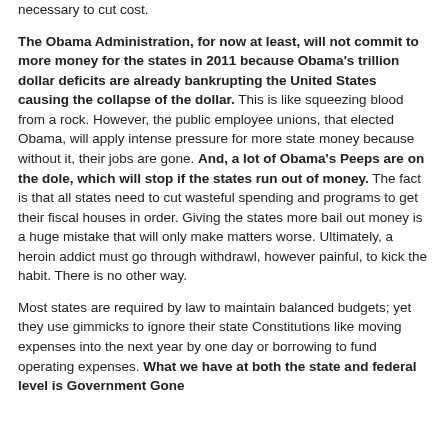necessary to cut cost.
The Obama Administration, for now at least, will not commit to more money for the states in 2011 because Obama's trillion dollar deficits are already bankrupting the United States causing the collapse of the dollar. This is like squeezing blood from a rock. However, the public employee unions, that elected Obama, will apply intense pressure for more state money because without it, their jobs are gone. And, a lot of Obama's Peeps are on the dole, which will stop if the states run out of money. The fact is that all states need to cut wasteful spending and programs to get their fiscal houses in order. Giving the states more bail out money is a huge mistake that will only make matters worse. Ultimately, a heroin addict must go through withdrawl, however painful, to kick the habit. There is no other way.
Most states are required by law to maintain balanced budgets; yet they use gimmicks to ignore their state Constitutions like moving expenses into the next year by one day or borrowing to fund operating expenses. What we have at both the state and federal level is Government Gone